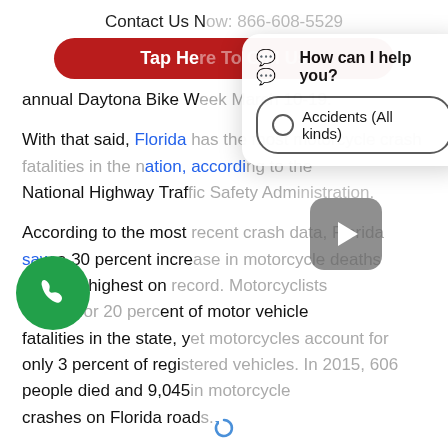Contact Us Now: 866-608-5529
Tap Here To Call Us
annual Daytona Bike Week March 10-19.
With that said, Florida has the most motorcycle crash fatalities in the nation, according to the National Highway Traffic Safety Administration.
According to the most recent crash data, Florida saw a 30 percent increase in motorcycle deaths 5, the highest on record. Motorcyclists nted for 20 percent of motor vehicle fatalities in the state, yet motorcycles account for only 3 percent of registered vehicles. In 2015, 606 people died and 9,045 in motorcycle crashes on Florida roads.
[Figure (screenshot): Chat widget overlay showing 'How can I help you?' header and 'Accidents (All kinds)' radio button option]
[Figure (other): Video play button overlay on background content]
[Figure (other): Green phone call button (circular, bottom left)]